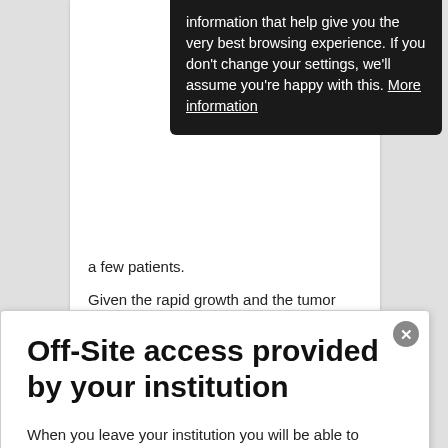information that help give you the very best browsing experience. If you don't change your settings, we'll assume you're happy with this. More information
a few patients.
Given the rapid growth and the tumor size, the two main differential diagnoses, are anaplastic carcinoma and thyroid lymphoma. Imaging studies
Off-Site access provided by your institution
When you leave your institution you will be able to access content until November 21st on this device. Coming back to your campus will extend your access.
Learn more about institution sponsored off-site access here